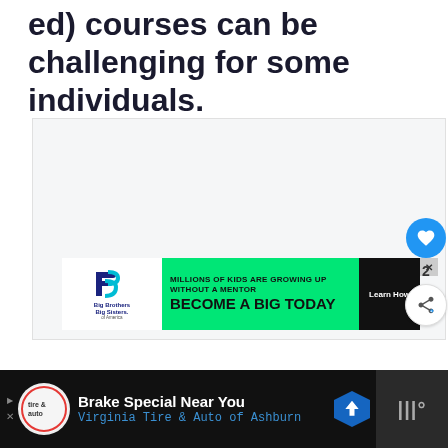ed) courses can be challenging for some individuals.
[Figure (other): Advertisement banner for Big Brothers Big Sisters of America - green background with text 'MILLIONS OF KIDS ARE GROWING UP WITHOUT A MENTOR' and 'BECOME A BIG TODAY' with 'Learn How' button]
[Figure (other): Bottom advertisement bar: Brake Special Near You - Virginia Tire & Auto of Ashburn, dark background with navigation arrow icon]